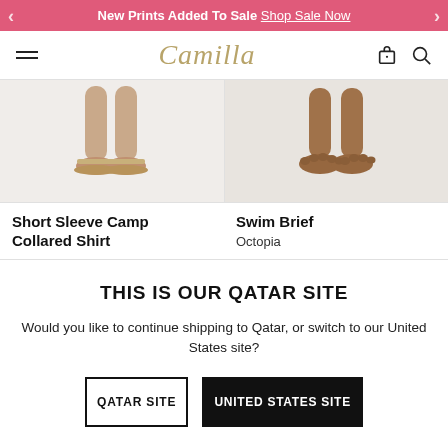New Prints Added To Sale Shop Sale Now
[Figure (screenshot): Camilla website navigation header with hamburger menu, Camilla script logo in gold, shopping bag icon and search icon]
[Figure (photo): Two product images side by side: left shows lower legs/feet with sandals on white background; right shows bare feet on white background]
Short Sleeve Camp Collared Shirt
Swim Brief
Octopia
THIS IS OUR QATAR SITE
Would you like to continue shipping to Qatar, or switch to our United States site?
QATAR SITE
UNITED STATES SITE